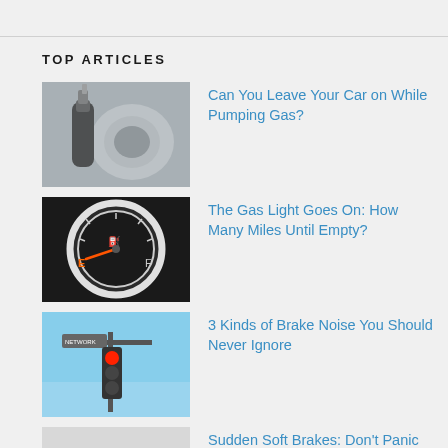TOP ARTICLES
[Figure (photo): Hand inserting gas nozzle into car fuel tank]
Can You Leave Your Car on While Pumping Gas?
[Figure (photo): Car fuel gauge showing near empty]
The Gas Light Goes On: How Many Miles Until Empty?
[Figure (photo): Traffic light on red against blue sky]
3 Kinds of Brake Noise You Should Never Ignore
[Figure (photo): Foot pressing brake pedal inside car]
Sudden Soft Brakes: Don't Panic With These 3 Tips